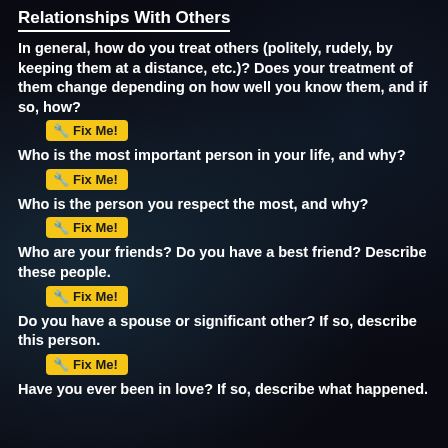Relationships With Others
In general, how do you treat others (politely, rudely, by keeping them at a distance, etc.)? Does your treatment of them change depending on how well you know them, and if so, how?
🔧 Fix Me!
Who is the most important person in your life, and why?
🔧 Fix Me!
Who is the person you respect the most, and why?
🔧 Fix Me!
Who are your friends? Do you have a best friend? Describe these people.
🔧 Fix Me!
Do you have a spouse or significant other? If so, describe this person.
🔧 Fix Me!
Have you ever been in love? If so, describe what happened.